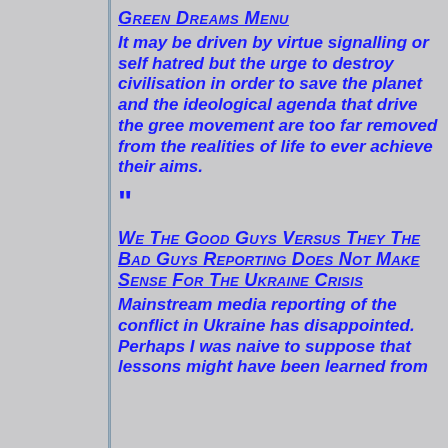Green Dreams Menu
It may be driven by virtue signalling or self hatred but the urge to destroy civilisation in order to save the planet and the ideological agenda that drive the gree movement are too far removed from the realities of life to ever achieve their aims.
"
We The Good Guys Versus They The Bad Guys Reporting Does Not Make Sense For The Ukraine Crisis
Mainstream media reporting of the conflict in Ukraine has disappointed. Perhaps I was naive to suppose that lessons might have been learned from